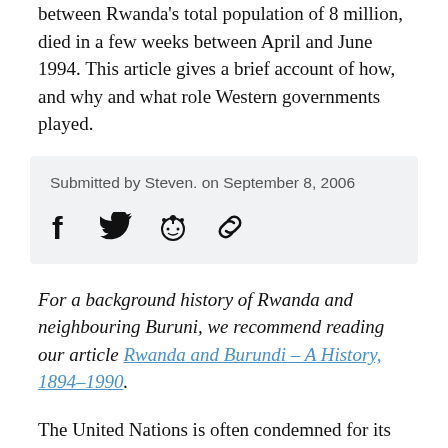Rwanda's total population of 8 million, died in a few weeks between April and June 1994. This article gives a brief account of how, and why and what role Western governments played.
Submitted by Steven. on September 8, 2006
[Figure (other): Social sharing icons: Facebook, Twitter, Reddit, Link]
For a background history of Rwanda and neighbouring Buruni, we recommend reading our article Rwanda and Burundi – A History, 1894–1990.
The United Nations is often condemned for its role during the genocide. Usually the UN is accused of a cowardly reluctance to act forcefully enough to